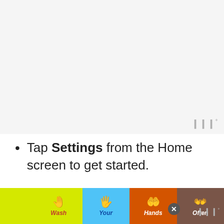[Figure (screenshot): A blank/light gray screenshot area representing a device screen, with a watermark logo 'W°' in the bottom right corner.]
Tap Settings from the Home screen to get started.
Tap System.
[Figure (infographic): Footer advertisement bar with black background showing a 'Wash Your Hands Often' public health message with colorful hand-washing icons, a close button, and a W° watermark logo.]